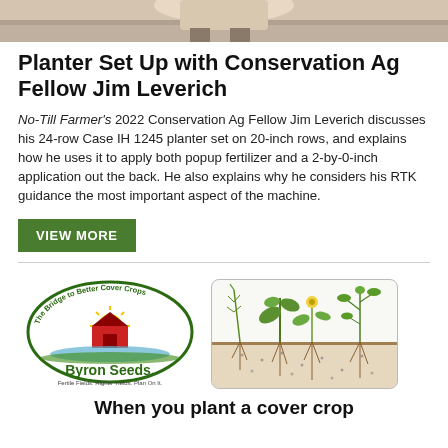[Figure (photo): Top portion of a person standing outdoors in a field, cropped at torso level]
Planter Set Up with Conservation Ag Fellow Jim Leverich
No-Till Farmer's 2022 Conservation Ag Fellow Jim Leverich discusses his 24-row Case IH 1245 planter set on 20-inch rows, and explains how he uses it to apply both popup fertilizer and a 2-by-0-inch application out the back. He also explains why he considers his RTK guidance the most important aspect of the machine.
VIEW MORE
[Figure (logo): Byron Seeds logo: circular badge with text 'The Bridge to Better Cover Crops', barn illustration, sun, water, and text 'Byron Seeds. Fertile Fields. Higher Yields. Plan On It.']
[Figure (illustration): Scientific illustration showing various cover crop plants with roots extending into soil cross-section, on white background with rounded border]
When you plant a cover crop